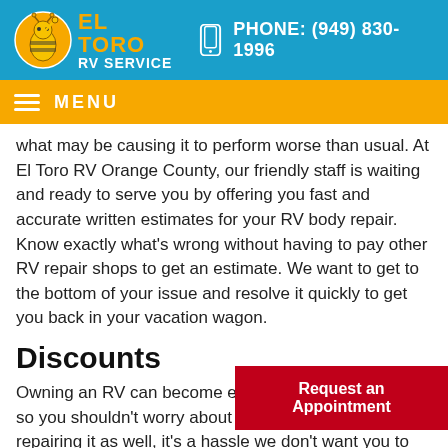EL TORO RV SERVICE | PHONE: (949) 830-1996
MENU
what may be causing it to perform worse than usual. At El Toro RV Orange County, our friendly staff is waiting and ready to serve you by offering you fast and accurate written estimates for your RV body repair. Know exactly what's wrong without having to pay other RV repair shops to get an estimate. We want to get to the bottom of your issue and resolve it quickly to get you back in your vacation wagon.
Discounts
Owning an RV can become expensive rather quickly, so you shouldn't worry about paying too much for repairing it as well, it's a hassle we don't want you to have. Check out the plethora of discounts we offer on many different services. We want you to take advantage of our services but at an affordable price. Check back often to find
Request an Appointment